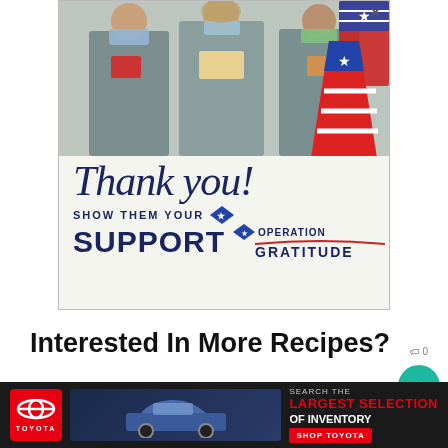[Figure (photo): Advertisement banner showing three nurses in scrubs and masks holding thank you cards, with script text 'Thank you!' and a patriotic pencil graphic. Text reads 'SHOW THEM YOUR SUPPORT' with Operation Gratitude logo.]
Interested In More Recipes?
Thank you for visiting this website. I appreciate using some of your valuable time to do so. If you're in...month
[Figure (photo): Toyota advertisement banner at bottom of page showing cars and text: SEARCH THE LARGEST SELECTION OF INVENTORY, SHOP TOYOTA]